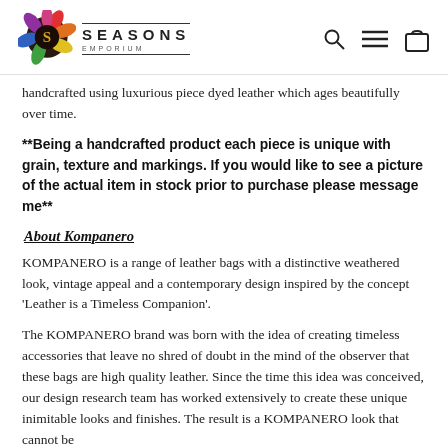SEASONS EMPORIUM
handcrafted using luxurious piece dyed leather which ages beautifully over time.
**Being a handcrafted product each piece is unique with grain, texture and markings. If you would like to see a picture of the actual item in stock prior to purchase please message me**
About Kompanero
KOMPANERO is a range of leather bags with a distinctive weathered look, vintage appeal and a contemporary design inspired by the concept ‘Leather is a Timeless Companion’.
The KOMPANERO brand was born with the idea of creating timeless accessories that leave no shred of doubt in the mind of the observer that these bags are high quality leather. Since the time this idea was conceived, our design research team has worked extensively to create these unique inimitable looks and finishes. The result is a KOMPANERO look that cannot be